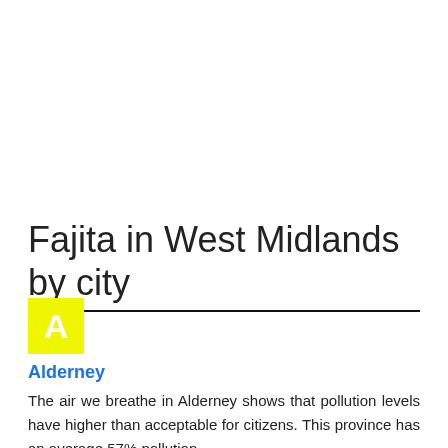Fajita in West Midlands by city
[Figure (other): Yellow square badge with white letter A]
Alderney
The air we breathe in Alderney shows that pollution levels have higher than acceptable for citizens. This province has an average 57% pollution.